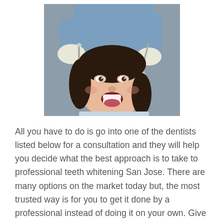[Figure (photo): A woman with her mouth open receiving dental treatment from a dentist wearing blue scrubs and white gloves, using dental instruments.]
All you have to do is go into one of the dentists listed below for a consultation and they will help you decide what the best approach is to take to professional teeth whitening San Jose. There are many options on the market today but, the most trusted way is for you to get it done by a professional instead of doing it on your own. Give one a